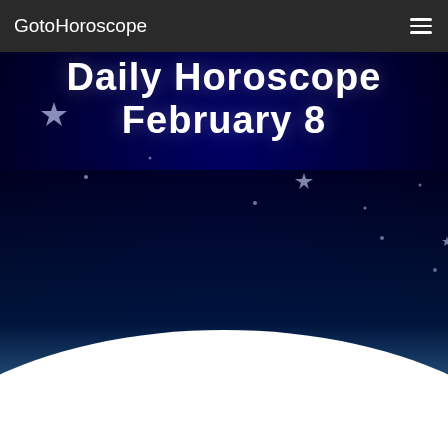GotoHoroscope
Daily Horoscope February 8
[Figure (illustration): Night sky hero image with dark blue background, stars, and a bright glowing horizon transitioning to white below]